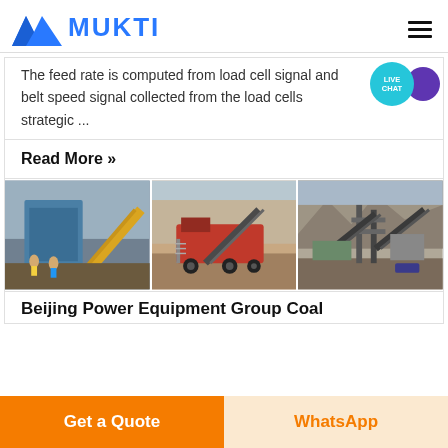MUKTI
The feed rate is computed from load cell signal and belt speed signal collected from the load cells strategic ...
Read More »
[Figure (photo): Three panel industrial mining/crushing equipment photo strip: left panel shows blue industrial plant with yellow conveyor and workers; center panel shows red mobile crushing equipment in quarry; right panel shows large quarry crushing/screening plant with conveyors.]
Beijing Power Equipment Group Coal
Get a Quote
WhatsApp